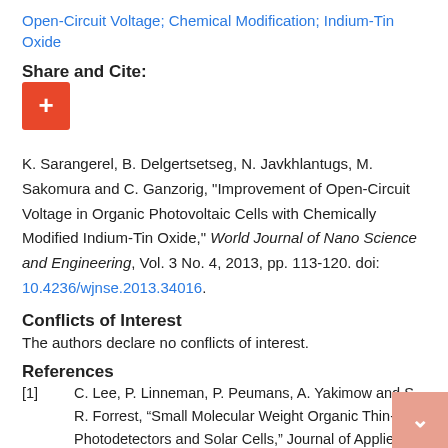Open-Circuit Voltage; Chemical Modification; Indium-Tin Oxide
Share and Cite:
[Figure (other): Orange/red plus button for Share and Cite action]
K. Sarangerel, B. Delgertsetseg, N. Javkhlantugs, M. Sakomura and C. Ganzorig, "Improvement of Open-Circuit Voltage in Organic Photovoltaic Cells with Chemically Modified Indium-Tin Oxide," World Journal of Nano Science and Engineering, Vol. 3 No. 4, 2013, pp. 113-120. doi: 10.4236/wjnse.2013.34016.
Conflicts of Interest
The authors declare no conflicts of interest.
References
[1]   C. Lee, P. Linneman, P. Peumans, A. Yakimow and S. R. Forrest, “Small Molecular Weight Organic Thin-Film Photodetectors and Solar Cells,” Journal of Applied Physics,